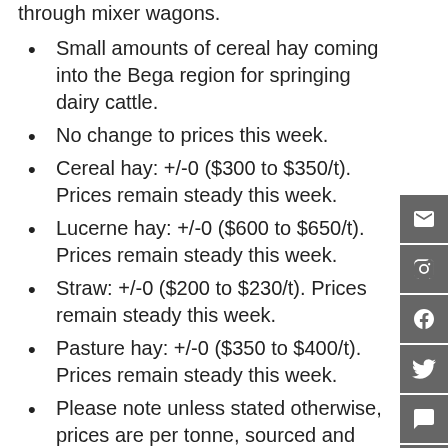through mixer wagons.
Small amounts of cereal hay coming into the Bega region for springing dairy cattle.
No change to prices this week.
Cereal hay: +/-0 ($300 to $350/t). Prices remain steady this week.
Lucerne hay: +/-0 ($600 to $650/t). Prices remain steady this week.
Straw: +/-0 ($200 to $230/t). Prices remain steady this week.
Pasture hay: +/-0 ($350 to $400/t). Prices remain steady this week.
Please note unless stated otherwise, prices are per tonne, sourced and delivered locally. The price range indicated is for feeds of varying quality with the price range generally indicative of quality of feed. We recommend feed testing and viewing of fodder before purchase to be sure of the quality of